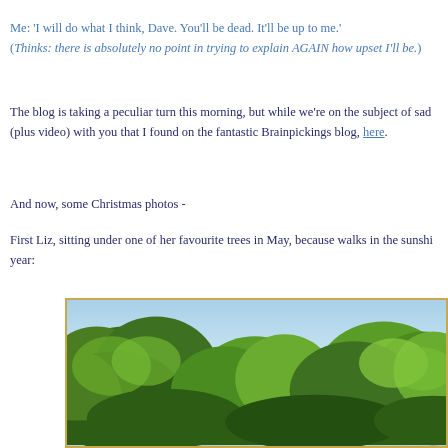Me: 'I will do what I think, Dave. You'll be dead. It'll be up to me.' (Thinks: there is absolutely no point in trying to explain AGAIN how upset I'll be.)
The blog is taking a peculiar turn this morning, but while we're on the subject of sad (plus video) with you that I found on the fantastic Brainpickings blog, here.
And now, some Christmas photos -
First Liz, sitting under one of her favourite trees in May, because walks in the sunshine year:
[Figure (photo): Outdoor photo showing green leafy trees with dense foliage against a blue sky, taken in May sunshine.]